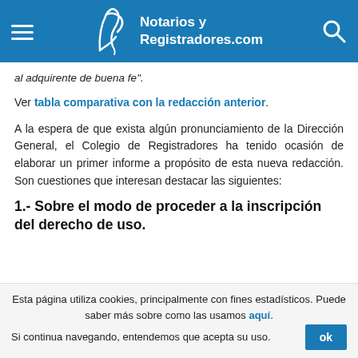Notarios y Registradores.com
al adquirente de buena fe".
Ver tabla comparativa con la redacción anterior.
A la espera de que exista algún pronunciamiento de la Dirección General, el Colegio de Registradores ha tenido ocasión de elaborar un primer informe a propósito de esta nueva redacción. Son cuestiones que interesan destacar las siguientes:
1.- Sobre el modo de proceder a la inscripción del derecho de uso.
Esta página utiliza cookies, principalmente con fines estadísticos. Puede saber más sobre como las usamos aquí. Si continua navegando, entendemos que acepta su uso.